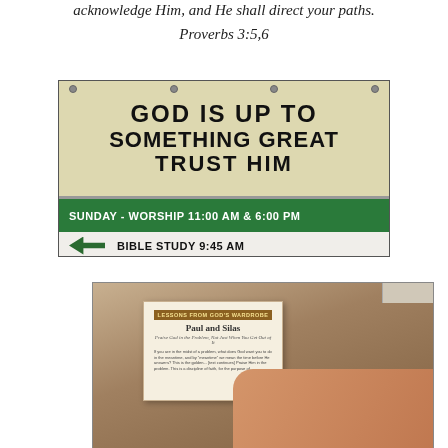acknowledge Him, and He shall direct your paths.
Proverbs 3:5,6
[Figure (photo): Church sign reading 'GOD IS UP TO SOMETHING GREAT TRUST HIM' with green banner below saying 'SUNDAY - WORSHIP 11:00 AM & 6:00 PM' and white sign with arrow pointing left saying 'BIBLE STUDY 9:45 AM']
[Figure (photo): A hand holding open a devotional book to a page titled 'Paul and Silas' with subtitle text visible]